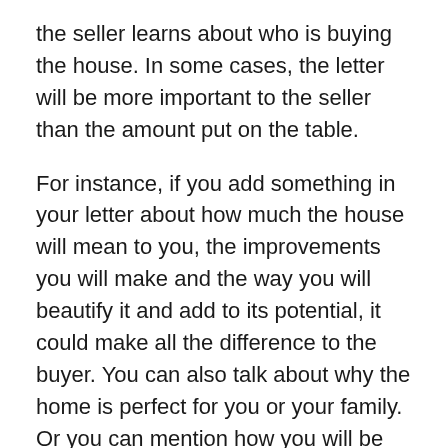the seller learns about who is buying the house. In some cases, the letter will be more important to the seller than the amount put on the table.
For instance, if you add something in your letter about how much the house will mean to you, the improvements you will make and the way you will beautify it and add to its potential, it could make all the difference to the buyer. You can also talk about why the home is perfect for you or your family. Or you can mention how you will be an asset to the community once you move in.
In todays' age of technology, some people send videos [accessibility icon] d of letters. This adds a personal touch letting the seller get a complete picture of who is buying their